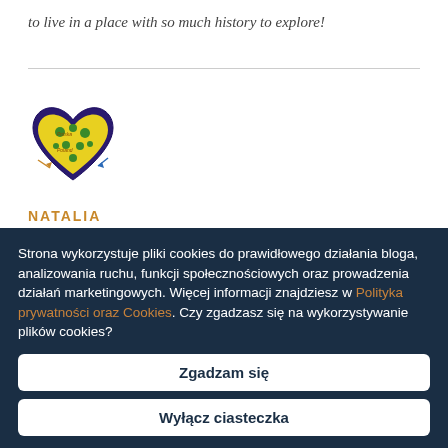to live in a place with so much history to explore!
[Figure (logo): Heart-shaped logo with yellow and green floral decoration, outlined in dark blue/purple]
NATALIA
Strona wykorzystuje pliki cookies do prawidłowego działania bloga, analizowania ruchu, funkcji społecznościowych oraz prowadzenia działań marketingowych. Więcej informacji znajdziesz w Polityka prywatności oraz Cookies. Czy zgadzasz się na wykorzystywanie plików cookies?
Zgadzam się
Wyłącz ciasteczka